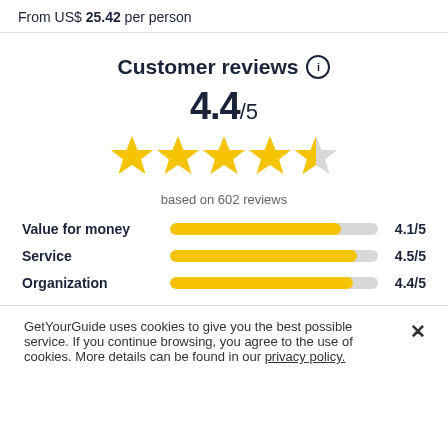From US$ 25.42 per person
Customer reviews ℹ
4.4/5
[Figure (other): 4.4 out of 5 stars rating — four full gold stars and one half gold star]
based on 602 reviews
[Figure (bar-chart): Review category scores]
GetYourGuide uses cookies to give you the best possible service. If you continue browsing, you agree to the use of cookies. More details can be found in our privacy policy.